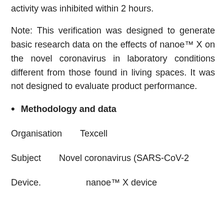activity was inhibited within 2 hours.
Note: This verification was designed to generate basic research data on the effects of nanoe™ X on the novel coronavirus in laboratory conditions different from those found in living spaces. It was not designed to evaluate product performance.
Methodology and data
Organisation   Texcell
Subject   Novel coronavirus (SARS-CoV-2
Device.             nanoe™ X device